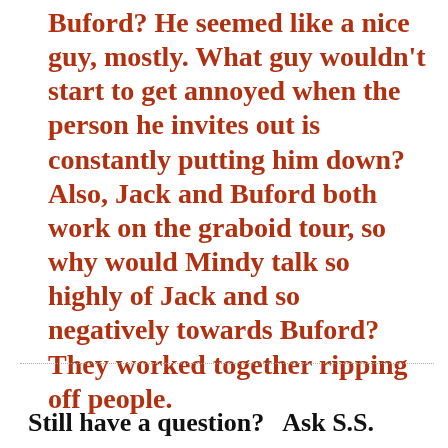Buford? He seemed like a nice guy, mostly. What guy wouldn't start to get annoyed when the person he invites out is constantly putting him down? Also, Jack and Buford both work on the graboid tour, so why would Mindy talk so highly of Jack and so negatively towards Buford? They worked together ripping off people.
Still have a question?   Ask S.S.